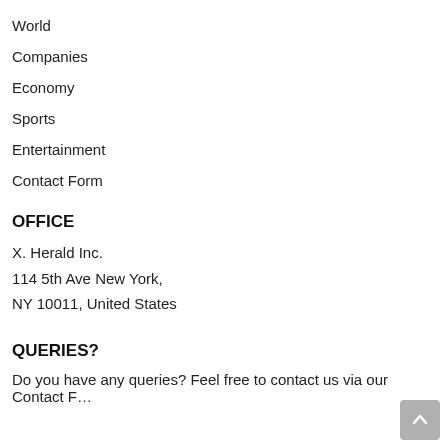World
Companies
Economy
Sports
Entertainment
Contact Form
OFFICE
X. Herald Inc.
114 5th Ave New York,
NY 10011, United States
QUERIES?
Do you have any queries? Feel free to contact us via our Contact Form